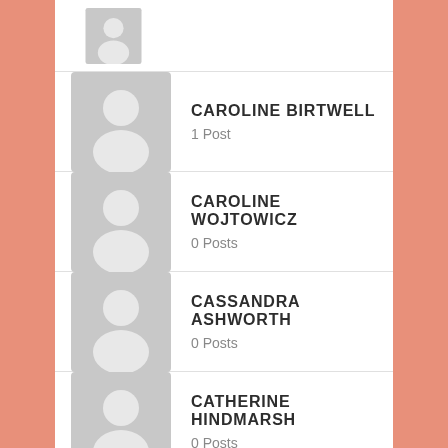(partial user row at top - no name visible)
CAROLINE BIRTWELL 1 Post
CAROLINE WOJTOWICZ 0 Posts
CASSANDRA ASHWORTH 0 Posts
CATHERINE HINDMARSH 0 Posts
CATHY DIMARCHOS 0 Posts